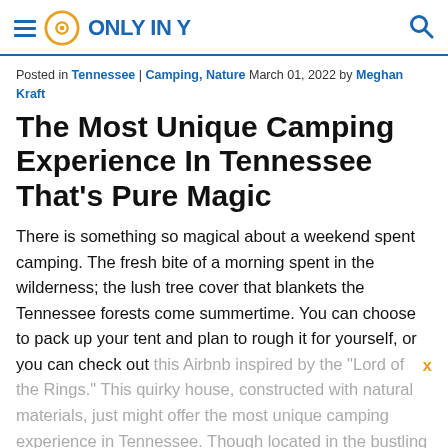Only In Your State
Posted in Tennessee | Camping, Nature March 01, 2022 by Meghan Kraft
The Most Unique Camping Experience In Tennessee That’s Pure Magic
There is something so magical about a weekend spent camping. The fresh bite of a morning spent in the wilderness; the lush tree cover that blankets the Tennessee forests come summertime. You can choose to pack up your tent and plan to rough it for yourself, or you can check out this Airbnb inspired by the "Lord of the Rings." This quirky house, constructed with natural materials, just might offer the most unique camping experience in Tennessee. Though located in the bustling Nashville suburb of Murfreesboro, this darling little spot feels just as remote as the Shire.